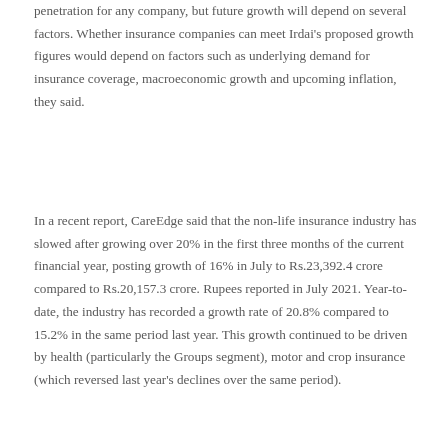penetration for any company, but future growth will depend on several factors. Whether insurance companies can meet Irdai's proposed growth figures would depend on factors such as underlying demand for insurance coverage, macroeconomic growth and upcoming inflation, they said.
In a recent report, CareEdge said that the non-life insurance industry has slowed after growing over 20% in the first three months of the current financial year, posting growth of 16% in July to Rs.23,392.4 crore compared to Rs.20,157.3 crore. Rupees reported in July 2021. Year-to-date, the industry has recorded a growth rate of 20.8% compared to 15.2% in the same period last year. This growth continued to be driven by health (particularly the Groups segment), motor and crop insurance (which reversed last year's declines over the same period).
"The health insurance premium has been the main lever of the non-life insurance industry since the start of the Covid-19 pandemic. This has resulted in the segment increasing its market share from 32.8% for YTD FY21 to 38.3% for YTDFY23. The healthcare segment is up 21.9% year-to-date in FY23, down from the 33.4% growth recorded for the same period in FY22,"